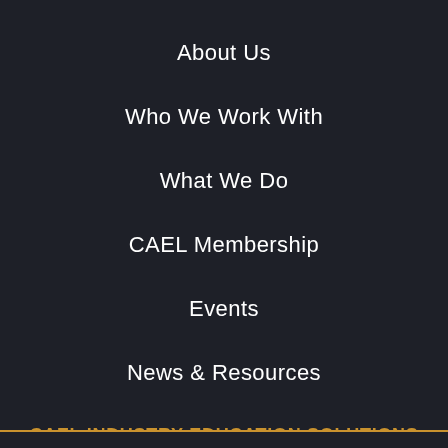About Us
Who We Work With
What We Do
CAEL Membership
Events
News & Resources
CAEL INDUSTRY EDUCATION SOLUTIONS
EPCE
NACTEL